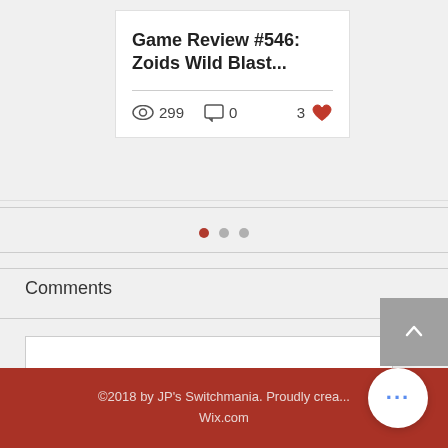Game Review #546: Zoids Wild Blast...
299  0  3
[Figure (screenshot): Pagination dots — one red active dot and two grey dots]
Comments
Write a comment...
©2018 by JP's Switchmania. Proudly crea... Wix.com